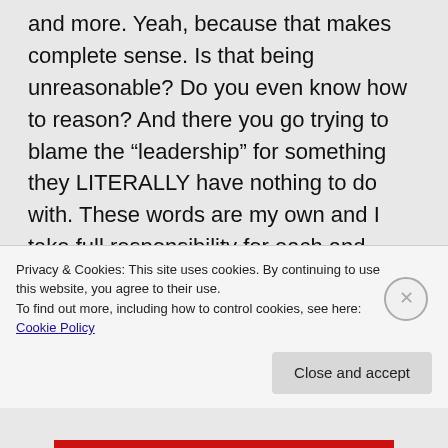and more. Yeah, because that makes complete sense. Is that being unreasonable? Do you even know how to reason? And there you go trying to blame the “leadership” for something they LITERALLY have nothing to do with. These words are my own and I take full responsibility for each and every one of them. You will literally try to find anything to try to make these
Privacy & Cookies: This site uses cookies. By continuing to use this website, you agree to their use.
To find out more, including how to control cookies, see here: Cookie Policy